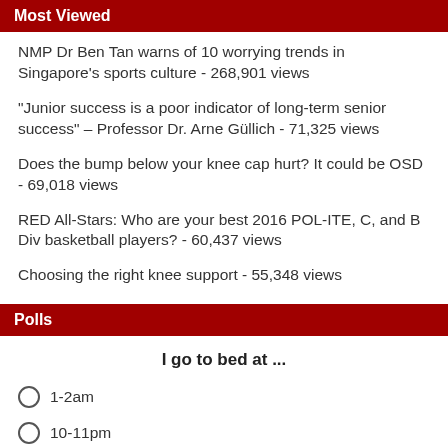Most Viewed
NMP Dr Ben Tan warns of 10 worrying trends in Singapore's sports culture - 268,901 views
“Junior success is a poor indicator of long-term senior success” – Professor Dr. Arne Güllich - 71,325 views
Does the bump below your knee cap hurt? It could be OSD - 69,018 views
RED All-Stars: Who are your best 2016 POL-ITE, C, and B Div basketball players? - 60,437 views
Choosing the right knee support - 55,348 views
Polls
I go to bed at ...
1-2am
10-11pm
12-1am